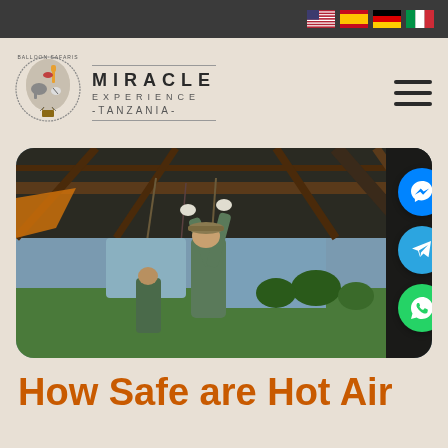Miracle Experience Tanzania - Balloon Safaris
[Figure (photo): A person working on the rigging/frame of a hot air balloon basket, reaching upward to adjust ropes and metal frame, with an African savanna landscape visible in the background under a cloudy sky]
How Safe are Hot Air